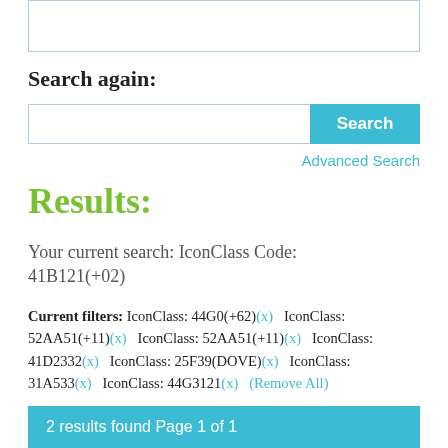[Figure (screenshot): Top partial UI box with light blue border]
Search again:
[Figure (screenshot): Search input field with Search button]
Advanced Search
Results:
Your current search: IconClass Code: 41B121(+02)
Current filters: IconClass: 44G0(+62)(x)   IconClass: 52AA51(+11)(x)   IconClass: 52AA51(+11)(x)   IconClass: 41D2332(x)   IconClass: 25F39(DOVE)(x)   IconClass: 31A533(x)   IconClass: 44G3121(x)   (Remove All)
2 results found Page 1 of 1